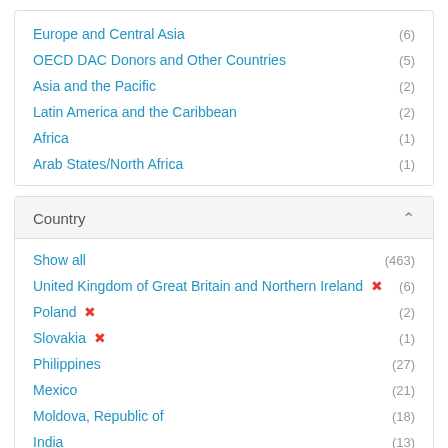Europe and Central Asia (6)
OECD DAC Donors and Other Countries (5)
Asia and the Pacific (2)
Latin America and the Caribbean (2)
Africa (1)
Arab States/North Africa (1)
Country
Show all (463)
United Kingdom of Great Britain and Northern Ireland ✕ (6)
Poland ✕ (2)
Slovakia ✕ (1)
Philippines (27)
Mexico (21)
Moldova, Republic of (18)
India (13)